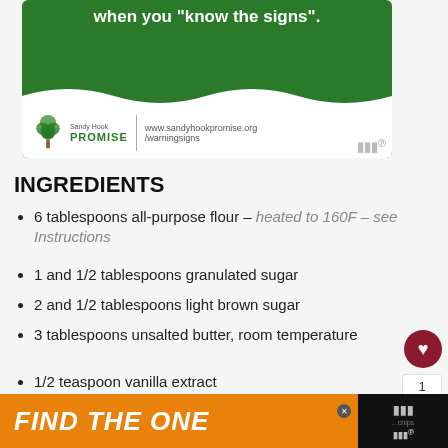[Figure (infographic): Sandy Hook Promise advertisement banner with green background, text 'gun violence is preventable when you know the signs', Sandy Hook Promise logo and URL www.sandyhookpromise.org/warningsigns]
INGREDIENTS
6 tablespoons all-purpose flour – heated to 160F – see Instructions
1 and 1/2 tablespoons granulated sugar
2 and 1/2 tablespoons light brown sugar
3 tablespoons unsalted butter, room temperature
1/2 teaspoon vanilla extract
pinch salt
splash milk – any kind
[Figure (infographic): Bottom advertisement banner with orange background text 'FIND THE ONE' and dog image]
[Figure (infographic): What's Next box showing Soft Double Chocolate... with cookie thumbnail]